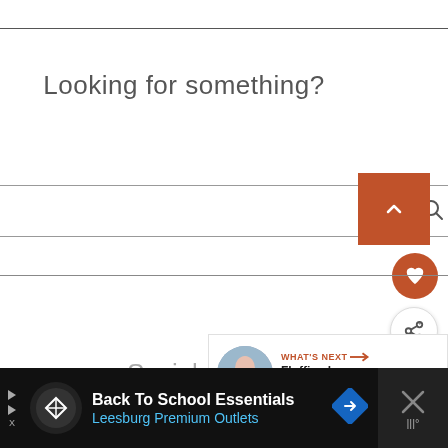Looking for something?
[Figure (screenshot): Search input bar with orange/brown up-arrow button overlay and magnifying glass icon]
[Figure (screenshot): Orange circular heart/favorite button]
[Figure (screenshot): White circular share/add button]
[Figure (screenshot): What's Next panel with thumbnail image and title 'Fluffimals Fluffy Factor...']
Socials
[Figure (screenshot): Advertisement bar: Back To School Essentials - Leesburg Premium Outlets with navigation icon and close button]